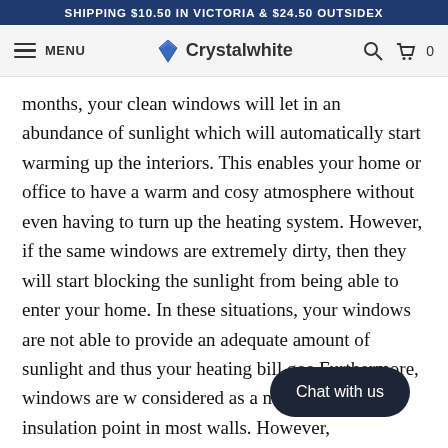SHIPPING $10.50 IN VICTORIA & $24.50 OUTSIDEX
MENU  Crystalwhite  [search] [cart] 0
months, your clean windows will let in an abundance of sunlight which will automatically start warming up the interiors. This enables your home or office to have a warm and cosy atmosphere without even having to turn up the heating system. However, if the same windows are extremely dirty, then they will start blocking the sunlight from being able to enter your home. In these situations, your windows are not able to provide an adequate amount of sunlight and thus your heating bill goes up. Furthermore, windows are widely considered as a naturally weak insulation point in most walls. However,